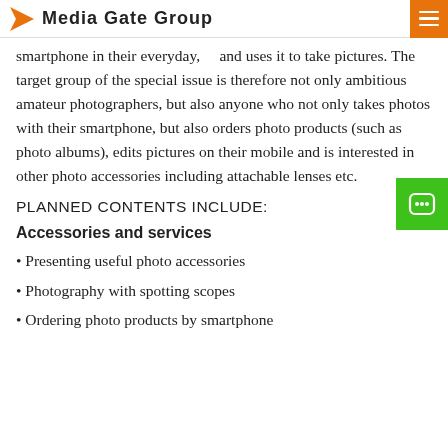Media Gate Group
smartphone in their everyday, and uses it to take pictures. The target group of the special issue is therefore not only ambitious amateur photographers, but also anyone who not only takes photos with their smartphone, but also orders photo products (such as photo albums), edits pictures on their mobile and is interested in other photo accessories including attachable lenses etc.
PLANNED CONTENTS INCLUDE:
Accessories and services
Presenting useful photo accessories
Photography with spotting scopes
Ordering photo products by smartphone